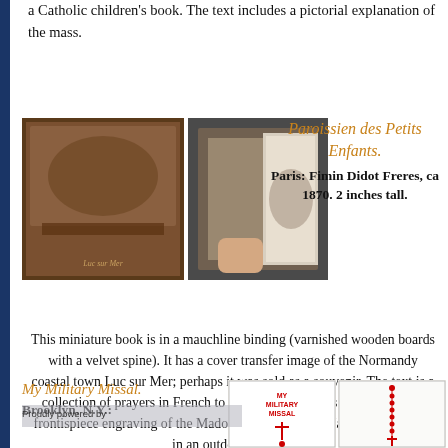a Catholic children's book. The text includes a pictorial explanation of the mass.
[Figure (photo): Two photos of a small miniature book: left photo shows the cover with a transfer image of Normandy coastal town Luc sur Mer; right photo shows the open book held in someone's hand revealing a frontispiece engraving.]
Paroissien des Petits Enfants.
Paris: Fimin Didot Freres, ca 1870. 2 inches tall.
This miniature book is in a mauchline binding (varnished wooden boards with a velvet spine). It has a cover transfer image of the Normandy coastal town Luc sur Mer; perhaps it was sold as a souvenir. The text is a collection of prayers in French to accompany the mass. It has a sweet frontispiece engraving of the Madonna of Humility (Mary holding Jesus in an outdoor setting).
My Military Missal.
Brooklyn, N.Y.:
[Figure (photo): Two photos of My Military Missal: left shows the white cover with red text and cross symbol; right shows what appears to be a rosary or beaded item with cross.]
Proudly powered by